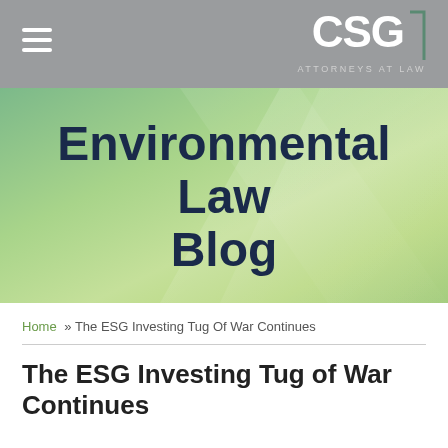CSG ATTORNEYS AT LAW
[Figure (illustration): Environmental Law Blog banner with green gradient background and diagonal light shapes]
Environmental Law Blog
Home » The ESG Investing Tug Of War Continues
The ESG Investing Tug of War Continues